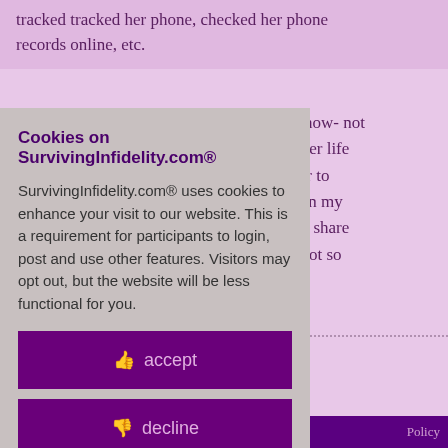tracked tracked her phone, checked her phone records online, etc.
f for now- not into her life ed her to regain my her to share I'm not so ?
Cookies on SurvivingInfidelity.com®
SurvivingInfidelity.com® uses cookies to enhance your visit to our website. This is a requirement for participants to login, post and use other features. Visitors may opt out, but the website will be less functional for you.
accept
decline
about cookies
e
Policy